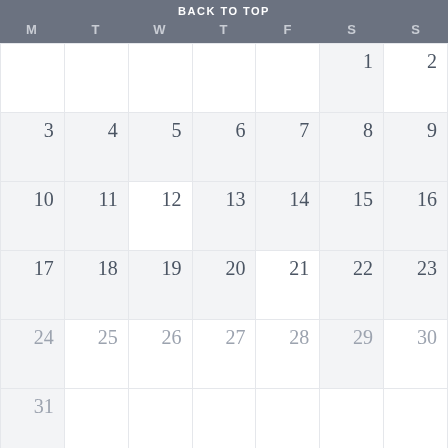BACK TO TOP
| M | T | W | T | F | S | S |
| --- | --- | --- | --- | --- | --- | --- |
|  |  |  |  |  | 1 | 2 |
| 3 | 4 | 5 | 6 | 7 | 8 | 9 |
| 10 | 11 | 12 | 13 | 14 | 15 | 16 |
| 17 | 18 | 19 | 20 | 21 | 22 | 23 |
| 24 | 25 | 26 | 27 | 28 | 29 | 30 |
| 31 |  |  |  |  |  |  |
Privacy & Cookies: This site uses cookies. By continuing to use this website, you agree to their use.
To find out more, including how to control cookies, see here:
Cookie Policy
Close and accept